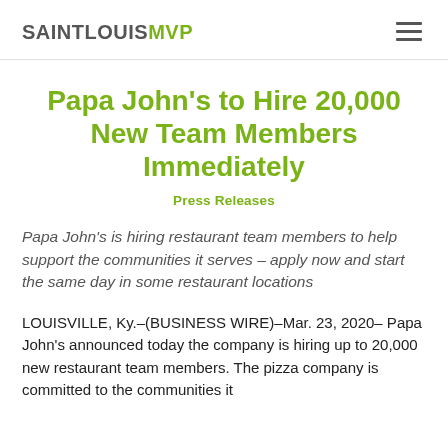SAINTLOUISMVP
Papa John's to Hire 20,000 New Team Members Immediately
Press Releases
Papa John's is hiring restaurant team members to help support the communities it serves – apply now and start the same day in some restaurant locations
LOUISVILLE, Ky.–(BUSINESS WIRE)–Mar. 23, 2020– Papa John's announced today the company is hiring up to 20,000 new restaurant team members. The pizza company is committed to the communities it